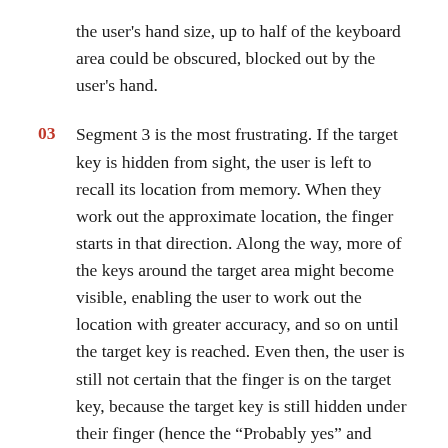the user's hand size, up to half of the keyboard area could be obscured, blocked out by the user's hand.
03 Segment 3 is the most frustrating. If the target key is hidden from sight, the user is left to recall its location from memory. When they work out the approximate location, the finger starts in that direction. Along the way, more of the keys around the target area might become visible, enabling the user to work out the location with greater accuracy, and so on until the target key is reached. Even then, the user is still not certain that the finger is on the target key, because the target key is still hidden under their finger (hence the “Probably yes” and “Probably no” in the diagram above). This entire segment thus represents a